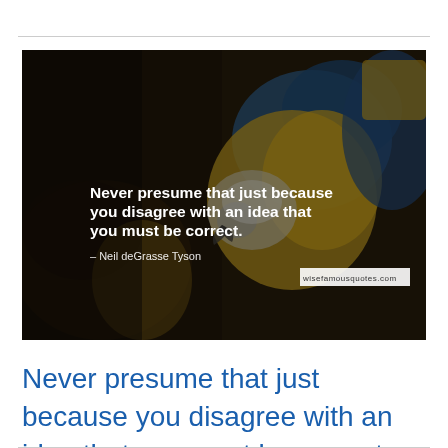[Figure (photo): A dark-toned photograph of two parrots (macaws) — one blue-and-yellow macaw facing right and another darker parrot — with an overlaid white text quote reading: 'Never presume that just because you disagree with an idea that you must be correct.' attributed to '- Neil deGrasse Tyson', and a watermark reading 'wisefamousquotes.com']
Never presume that just because you disagree with an idea that you must be correct.